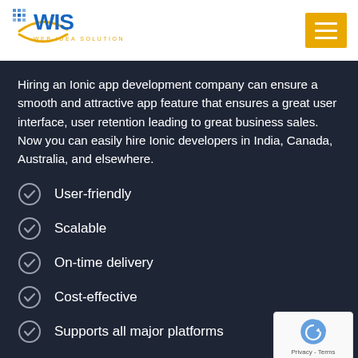WIS Web Idea Solution
Hiring an Ionic app development company can ensure a smooth and attractive app feature that ensures a great user interface, user retention leading to great business sales. Now you can easily hire Ionic developers in India, Canada, Australia, and elsewhere.
User-friendly
Scalable
On-time delivery
Cost-effective
Supports all major platforms